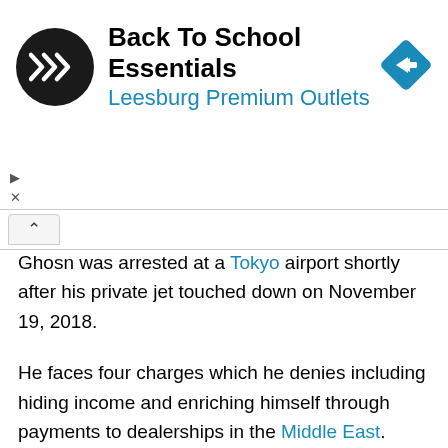[Figure (screenshot): Advertisement banner for Back To School Essentials at Leesburg Premium Outlets, with a circular black logo with double arrow symbol and a blue diamond navigation icon on the right.]
Ghosn was arrested at a Tokyo airport shortly after his private jet touched down on November 19, 2018.
He faces four charges which he denies including hiding income and enriching himself through payments to dealerships in the Middle East.
Nissan sacked him as chairman, saying internal investigations revealed misconduct ranging from understating his salary while he was its chief executive to transferring $5m of Nissan funds to an account in which he had an interest.
The case cast a harsh light on Japan's criminal justice